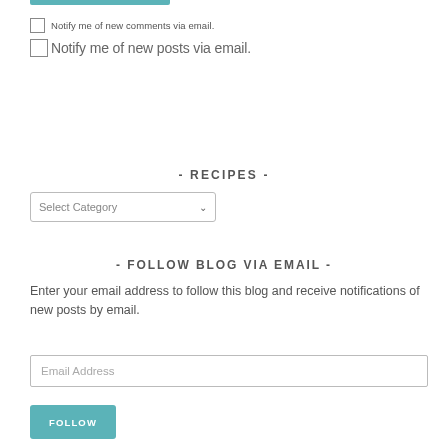Notify me of new comments via email.
Notify me of new posts via email.
- RECIPES -
[Figure (other): Select Category dropdown menu]
- FOLLOW BLOG VIA EMAIL -
Enter your email address to follow this blog and receive notifications of new posts by email.
[Figure (other): Email Address input field]
[Figure (other): FOLLOW button in teal]